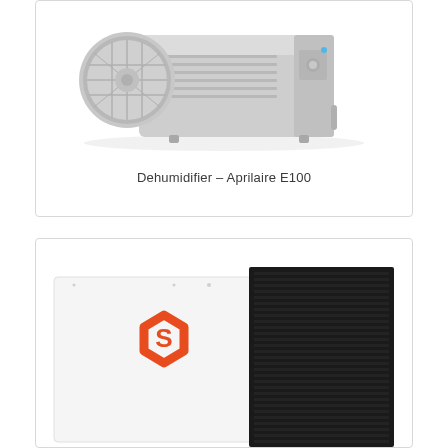[Figure (photo): Dehumidifier unit - Aprilaire E100, industrial/commercial style dehumidifier with cylindrical fan inlet on the left and rectangular body with controls on the right, shown on white background]
Dehumidifier – Aprilaire E100
[Figure (photo): Air purifier or filter product shown from front, white box with orange hexagonal S logo on the left side, and a black carbon/HEPA filter panel on the right side. Partially cropped at bottom of page.]